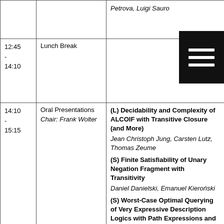| Time | Session | Content |
| --- | --- | --- |
|  |  | Petrova, Luigi Sauro |
| 12:45 - 14:10 | Lunch Break |  |
| 14:10 - 15:15 | Oral Presentations
Chair: Frank Wolter | (L) Decidability and Complexity of ALCOIF with Transitive Closure (and More)
Jean Christoph Jung, Carsten Lutz, Thomas Zeume
(S) Finite Satisfiability of Unary Negation Fragment with Transitivity
Daniel Danielski, Emanuel Kieroński
(S) Worst-Case Optimal Querying of Very Expressive Description Logics with Path Expressions and Succinct Counting |